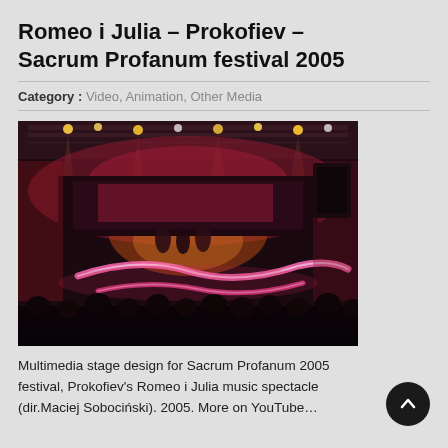Romeo i Julia – Prokofiev – Sacrum Profanum festival 2005
Category : Video, Animation, Other Media
[Figure (photo): Stage photo of Prokofiev's Romeo i Julia performance at Sacrum Profanum 2005 festival. Dark concert hall with dramatic red/pink lighting, a serpentine glowing path on stage floor, performers visible, audience silhouettes in foreground, lighting rig overhead.]
Multimedia stage design for Sacrum Profanum 2005 festival, Prokofiev's Romeo i Julia music spectacle (dir.Maciej Sobociński). 2005. More on YouTube…